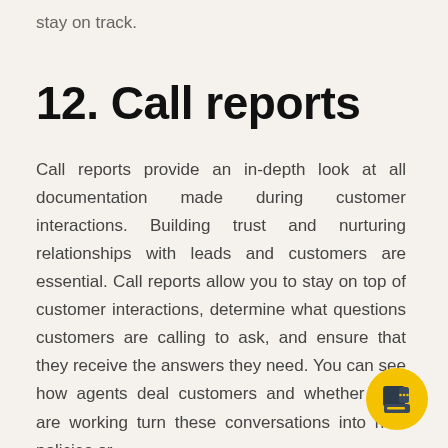stay on track.
12. Call reports
Call reports provide an in-depth look at all documentation made during customer interactions. Building trust and nurturing relationships with leads and customers are essential. Call reports allow you to stay on top of customer interactions, determine what questions customers are calling to ask, and ensure that they receive the answers they need. You can see how agents deal customers and whether they are working turn these conversations into new policies or